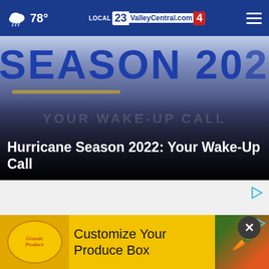☁ 78° | ValleyCentral.com | Local 23 / 4
[Figure (photo): Hero image showing 'SEASON 2022' text on a sign with dark overlay and 'YOUR WAKE-UP CALL' ghosted text]
Hurricane Season 2022: Your Wake-Up Call
[Figure (other): Advertisement area with play icon]
[Figure (other): Grande Produce advertisement banner: Customize Your Produce Box]